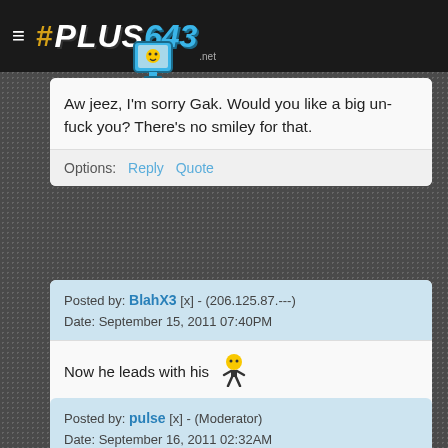# PLUS643 .net
Aw jeez, I'm sorry Gak. Would you like a big un-fuck you? There's no smiley for that.
Options: Reply Quote
Posted by: BlahX3 [x] - (206.125.87.---)
Date: September 15, 2011 07:40PM
Now he leads with his [emoji]
Options: Reply Quote
Posted by: pulse [x] - (Moderator)
Date: September 16, 2011 02:32AM